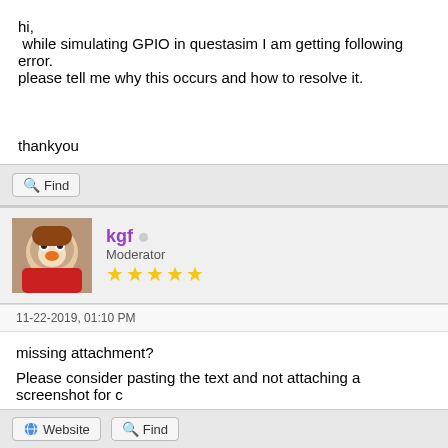hi,
 while simulating GPIO in questasim I am getting following error.
please tell me why this occurs and how to resolve it.


thankyou
Find
kgf
Moderator
★★★★★
11-22-2019, 01:10 PM
missing attachment?
Please consider pasting the text and not attaching a screenshot for c
Visit pulp-platform.org and follow us on twitter @pulp_platform
Website  Find